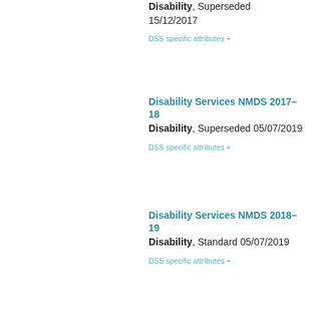Disability, Superseded 15/12/2017
DSS specific attributes +
Disability Services NMDS 2017–18
Disability, Superseded 05/07/2019
DSS specific attributes +
Disability Services NMDS 2018–19
Disability, Standard 05/07/2019
DSS specific attributes +